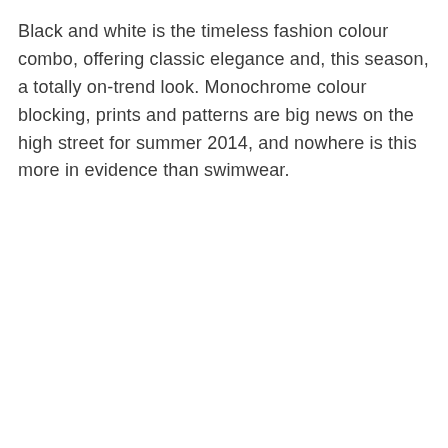Black and white is the timeless fashion colour combo, offering classic elegance and, this season, a totally on-trend look. Monochrome colour blocking, prints and patterns are big news on the high street for summer 2014, and nowhere is this more in evidence than swimwear.